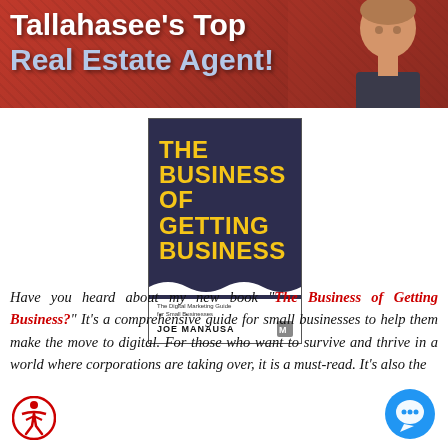[Figure (photo): Banner advertisement for Tallahasee's Top Real Estate Agent with red textured background and photo of a man on the right side]
[Figure (photo): Book cover for 'The Business of Getting Business' by Joe Manausa - The Digital Marketing Guide for Small Businesses. Dark navy cover with yellow bold title text and white wave divider at bottom.]
Have you heard about my new book "The Business of Getting Business?" It's a comprehensive guide for small businesses to help them make the move to digital. For those who want to survive and thrive in a world where corporations are taking over, it is a must-read. It's also the